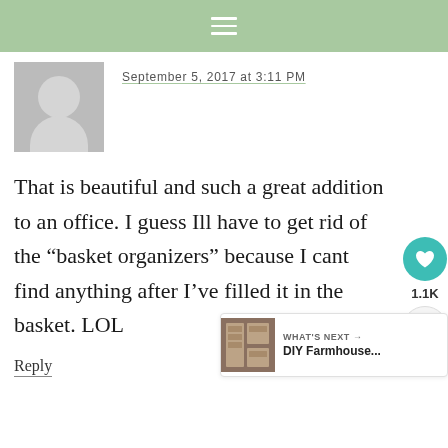≡
September 5, 2017 at 3:11 PM
That is beautiful and such a great addition to an office. I guess Ill have to get rid of the “basket organizers” because I cant find anything after I’ve filled it in the basket. LOL
Reply